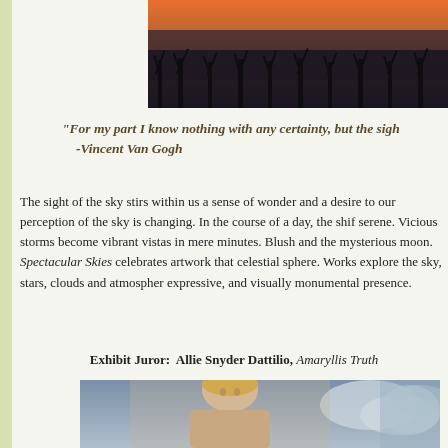[Figure (photo): Twilight sky with bare trees silhouetted against orange and dark clouds]
“For my part I know nothing with any certainty, but the sigh… -Vincent Van Gogh
The sight of the sky stirs within us a sense of wonder and a desire to… our perception of the sky is changing. In the course of a day, the shif… serene. Vicious storms become vibrant vistas in mere minutes. Blush… and the mysterious moon. Spectacular Skies celebrates artwork that… celestial sphere. Works explore the sky, stars, clouds and atmospher… expressive, and visually monumental presence.
Exhibit Juror:  Allie Snyder Dattilio, Amaryllis Truth…
[Figure (photo): Portrait of a woman (Allie Snyder Dattilio) against a cloudy sky background]